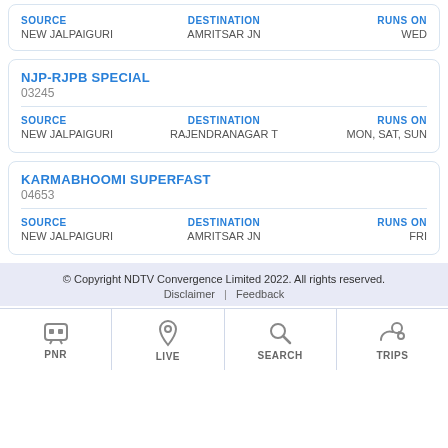| SOURCE | DESTINATION | RUNS ON |
| --- | --- | --- |
| NEW JALPAIGURI | AMRITSAR JN | WED |
NJP-RJPB SPECIAL
03245
| SOURCE | DESTINATION | RUNS ON |
| --- | --- | --- |
| NEW JALPAIGURI | RAJENDRANAGAR T | MON, SAT, SUN |
KARMABHOOMI SUPERFAST
04653
| SOURCE | DESTINATION | RUNS ON |
| --- | --- | --- |
| NEW JALPAIGURI | AMRITSAR JN | FRI |
© Copyright NDTV Convergence Limited 2022. All rights reserved.
Disclaimer | Feedback
PNR
LIVE
SEARCH
TRIPS